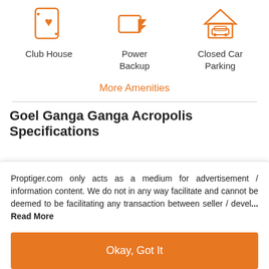[Figure (illustration): Club House icon: playing card with heart suit, orange outline]
Club House
[Figure (illustration): Power Backup icon: lightning bolt with rectangle, orange outline]
Power Backup
[Figure (illustration): Closed Car Parking icon: garage with car, orange outline]
Closed Car Parking
More Amenities
Goel Ganga Ganga Acropolis Specifications
Proptiger.com only acts as a medium for advertisement / information content. We do not in any way facilitate and cannot be deemed to be facilitating any transaction between seller / devel... Read More
Okay, Got It